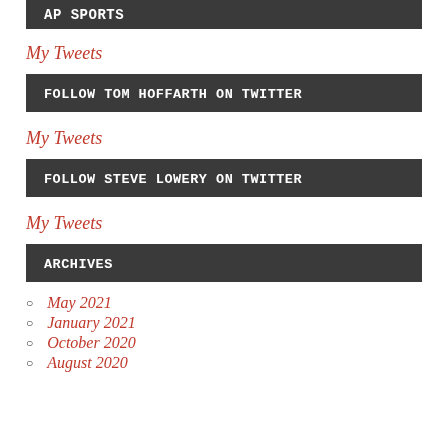AP SPORTS
My Tweets
FOLLOW TOM HOFFARTH ON TWITTER
My Tweets
FOLLOW STEVE LOWERY ON TWITTER
My Tweets
ARCHIVES
May 2021
January 2021
October 2020
August 2020